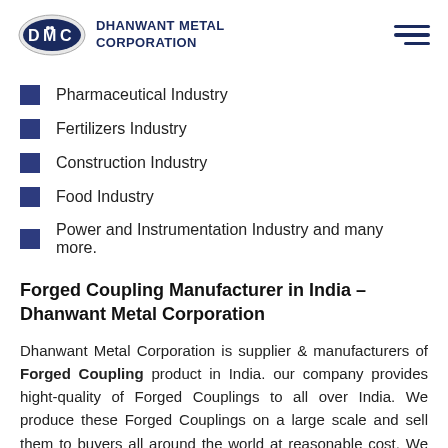[Figure (logo): DMC Dhanwant Metal Corporation logo with oval DMC emblem and company name in bold navy blue text]
Pharmaceutical Industry
Fertilizers Industry
Construction Industry
Food Industry
Power and Instrumentation Industry and many more.
Forged Coupling Manufacturer in India – Dhanwant Metal Corporation
Dhanwant Metal Corporation is supplier & manufacturers of Forged Coupling product in India. our company provides hight-quality of Forged Couplings to all over India. We produce these Forged Couplings on a large scale and sell them to buyers all around the world at reasonable cost. We are leading